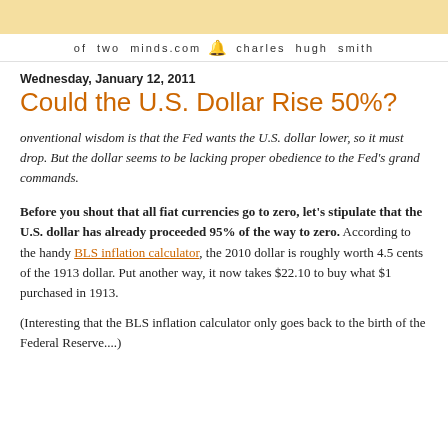of two minds.com   charles hugh smith
Wednesday, January 12, 2011
Could the U.S. Dollar Rise 50%?
onventional wisdom is that the Fed wants the U.S. dollar lower, so it must drop. But the dollar seems to be lacking proper obedience to the Fed's grand commands.
Before you shout that all fiat currencies go to zero, let's stipulate that the U.S. dollar has already proceeded 95% of the way to zero. According to the handy BLS inflation calculator, the 2010 dollar is roughly worth 4.5 cents of the 1913 dollar. Put another way, it now takes $22.10 to buy what $1 purchased in 1913.
(Interesting that the BLS inflation calculator only goes back to the birth of the Federal Reserve....)